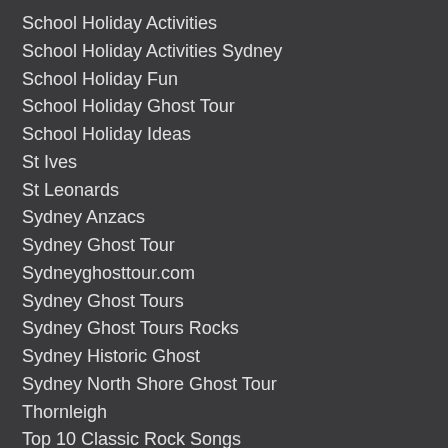School Holiday Activities
School Holiday Activities Sydney
School Holiday Fun
School Holiday Ghost Tour
School Holiday Ideas
St Ives
St Leonards
Sydney Anzacs
Sydney Ghost Tour
Sydneyghosttour.com
Sydney Ghost Tours
Sydney Ghost Tours Rocks
Sydney Historic Ghost
Sydney North Shore Ghost Tour
Thornleigh
Top 10 Classic Rock Songs
Top 10 Songs
Trick Or Treat
Trick Or Treat -
Don\\\\\\\\\\\\\\\\\\\\\\\\\\\\\\\\\\\\\\\\\\\\\\\\\\\\\\\\\\\\\\\\\\\\\\\\\\\\\\\\\\\\\\\\\\\\\\\\\\\\\\\\\\\\\\